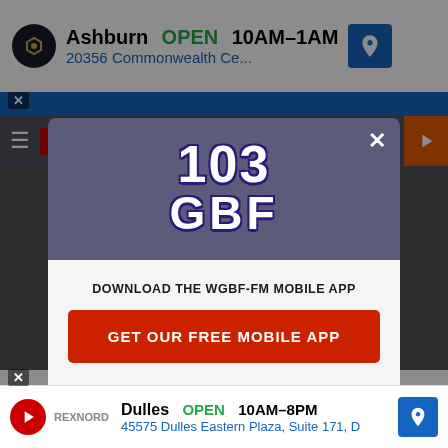[Figure (screenshot): Top advertisement banner: Topgolf Ashburn OPEN 10AM-1AM, 20356 Commonwealth Ce...]
[Figure (screenshot): Website navigation bar with hamburger menu and orange arrow button]
[Figure (logo): 103 GBF radio station logo in white bold text on purple/dark background]
DOWNLOAD THE WGBF-FM MOBILE APP
GET OUR FREE MOBILE APP
Also listen on: amazon alexa
[Figure (screenshot): Bottom advertisement banner: Dulles OPEN 10AM-8PM, 45575 Dulles Eastern Plaza, Suite 171, D]
Drivers
1. Ki...